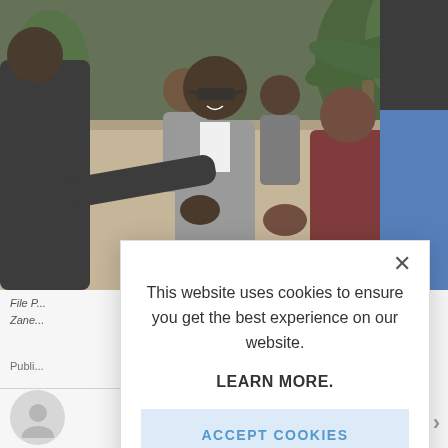[Figure (photo): Outdoor group scene with several people, central figure in grey suit shaking hands, others standing around in an outdoor setting with palm trees in background.]
File P...
Zane...
Publi...
[Figure (screenshot): Cookie consent modal dialog box overlaying the webpage. Contains close button (X), text 'This website uses cookies to ensure you get the best experience on our website.', bold text 'LEARN MORE.', and a button 'ACCEPT COOKIES'.]
This website uses cookies to ensure you get the best experience on our website.
LEARN MORE.
ACCEPT COOKIES